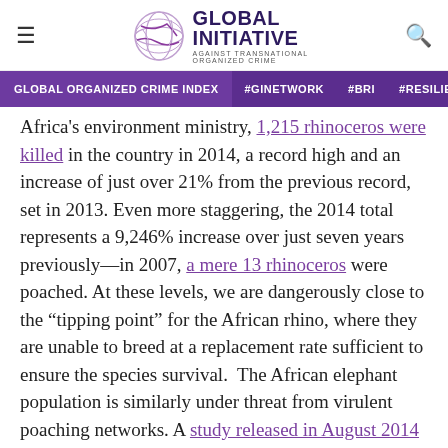Global Initiative Against Transnational Organized Crime
GLOBAL ORGANIZED CRIME INDEX | #GINETWORK | #BRI | #RESILIENCE
Africa's environment ministry, 1,215 rhinoceros were killed in the country in 2014, a record high and an increase of just over 21% from the previous record, set in 2013. Even more staggering, the 2014 total represents a 9,246% increase over just seven years previously—in 2007, a mere 13 rhinoceros were poached. At these levels, we are dangerously close to the "tipping point" for the African rhino, where they are unable to breed at a replacement rate sufficient to ensure the species survival.  The African elephant population is similarly under threat from virulent poaching networks. A study released in August 2014 reported that Central Africa's elephant population